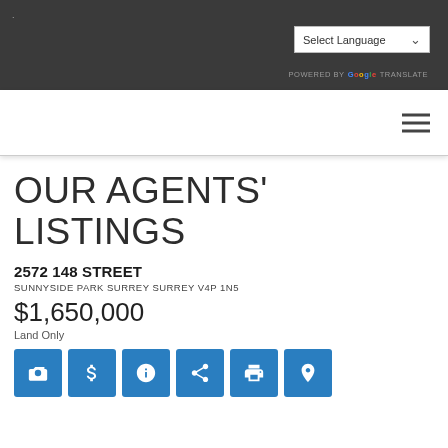Select Language | POWERED BY Google TRANSLATE
OUR AGENTS' LISTINGS
2572 148 STREET
SUNNYSIDE PARK SURREY SURREY V4P 1N5
$1,650,000
Land Only
[Figure (other): Row of 6 blue icon buttons: camera, dollar sign, info, share, print, location pin]